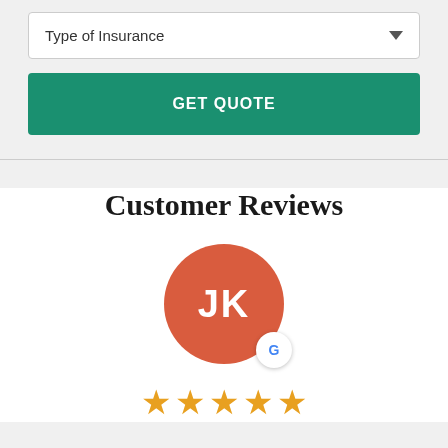[Figure (screenshot): Dropdown selector labeled 'Type of Insurance' with a downward arrow, followed by a green 'GET QUOTE' button]
Customer Reviews
[Figure (illustration): Circular red avatar with initials JK and a Google badge icon, with five gold stars below]